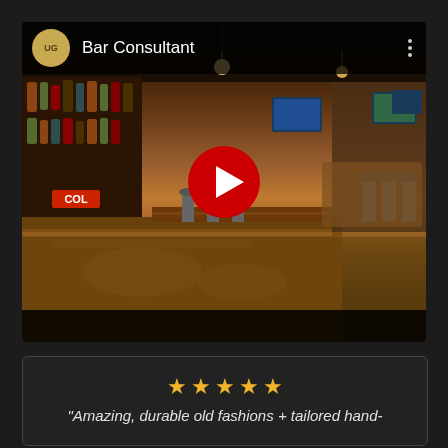[Figure (screenshot): YouTube video thumbnail showing a bar interior with a play button overlay. The video is titled 'Bar Consultant' and features a channel icon. The bar image shows a long wooden bar counter, shelves of bottles, bar stools, TV screens, and pendant lighting.]
"Amazing, durable old fashions + tailored hand-